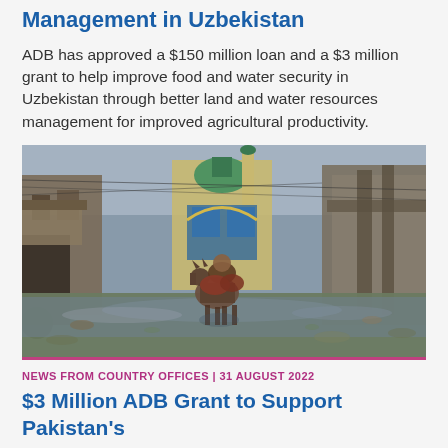Management in Uzbekistan
ADB has approved a $150 million loan and a $3 million grant to help improve food and water security in Uzbekistan through better land and water resources management for improved agricultural productivity.
[Figure (photo): A flooded street scene in Pakistan with a person on a donkey cart wading through floodwaters, with a green-domed mosque and market buildings visible in the background.]
NEWS FROM COUNTRY OFFICES | 31 AUGUST 2022
$3 Million ADB Grant to Support Pakistan's